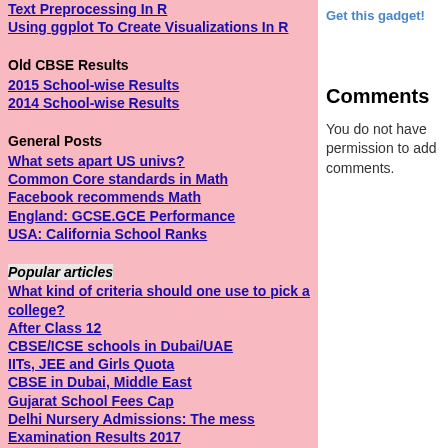Text Preprocessing In R
Using ggplot To Create Visualizations In R
Old CBSE Results
2015 School-wise Results
2014 School-wise Results
General Posts
What sets apart US univs?
Common Core standards in Math
Facebook recommends Math
England: GCSE.GCE Performance
USA: California School Ranks
Popular articles
What kind of criteria should one use to pick a college?
After Class 12
CBSE/ICSE schools in Dubai/UAE
IITs, JEE and Girls Quota
CBSE in Dubai, Middle East
Gujarat School Fees Cap
Delhi Nursery Admissions: The mess
Examination Results 2017
Get this gadget!
Comments
You do not have permission to add comments.